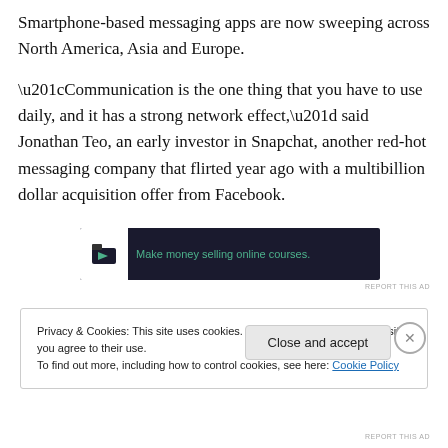Smartphone-based messaging apps are now sweeping across North America, Asia and Europe.
“Communication is the one thing that you have to use daily, and it has a strong network effect,” said Jonathan Teo, an early investor in Snapchat, another red-hot messaging company that flirted year ago with a multibillion dollar acquisition offer from Facebook.
[Figure (other): Advertisement banner with dark background showing an icon and the text 'Make money selling online courses.']
REPORT THIS AD
Privacy & Cookies: This site uses cookies. By continuing to use this website, you agree to their use.
To find out more, including how to control cookies, see here: Cookie Policy
Close and accept
REPORT THIS AD